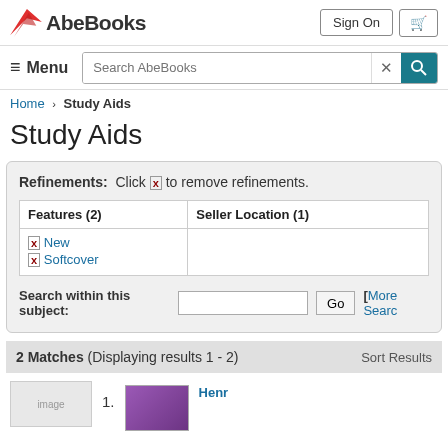[Figure (logo): AbeBooks logo with red wing icon and bold text]
Sign On | Cart icon
≡ Menu | Search AbeBooks [x] [search button]
Home › Study Aids
Study Aids
Refinements: Click [x] to remove refinements.
| Features (2) | Seller Location (1) |
| --- | --- |
| [x] New
[x] Softcover |  |
Search within this subject: [input] Go [More Searc...]
2 Matches (Displaying results 1 - 2)  Sort Results
1. Henri...